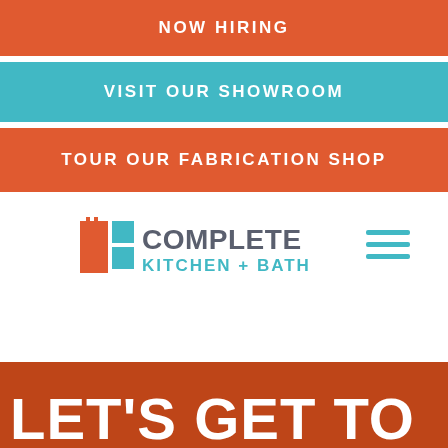NOW HIRING
VISIT OUR SHOWROOM
TOUR OUR FABRICATION SHOP
[Figure (logo): Complete Kitchen + Bath logo with orange and teal icon squares on left and text 'COMPLETE KITCHEN + BATH' in teal and orange]
LET'S GET TO WORK